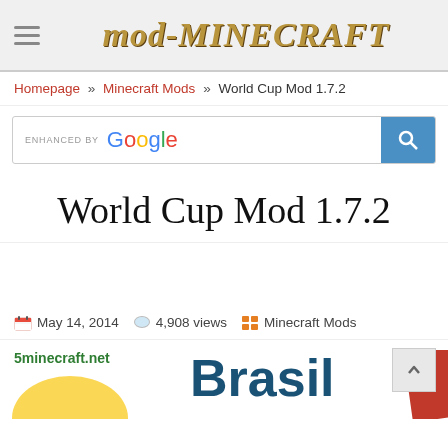mod-MINECRAFT
Homepage » Minecraft Mods » World Cup Mod 1.7.2
[Figure (screenshot): Google enhanced search bar]
World Cup Mod 1.7.2
May 14, 2014  4,908 views  Minecraft Mods
[Figure (photo): World Cup Mod 1.7.2 screenshot showing Brasil branding with yellow arc and red stripe, watermarked 5minecraft.net]